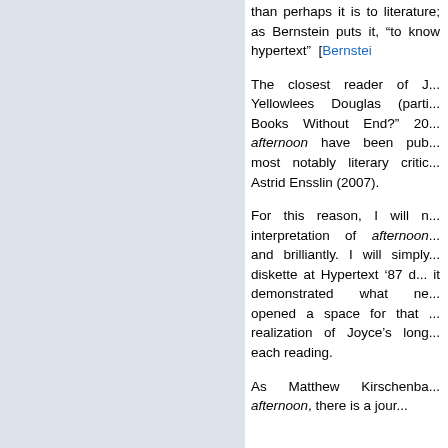than perhaps it is to literature; as Bernstein puts it, "to know hypertext" [Bernstei
The closest reader of J... Yellowlees Douglas (parti... Books Without End?" 20... afternoon have been pub... most notably literary critic... Astrid Ensslin (2007).
For this reason, I will n... interpretation of afternoon... and brilliantly. I will simply... diskette at Hypertext '87 d... it demonstrated what ne... opened a space for that ... realization of Joyce's long... each reading.
As Matthew Kirschenba... afternoon, there is a jour...